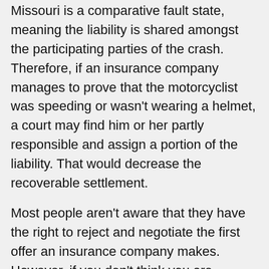Missouri is a comparative fault state, meaning the liability is shared amongst the participating parties of the crash. Therefore, if an insurance company manages to prove that the motorcyclist was speeding or wasn't wearing a helmet, a court may find him or her partly responsible and assign a portion of the liability. That would decrease the recoverable settlement.
Most people aren't aware that they have the right to reject and negotiate the first offer an insurance company makes. However, if you don't think you are competent to do any of this, you should contact a skillful motorcycle and car accident attorney.
Vehicle accident cases can be complicated, whether they involve motorcycle accidents, trucks, bicycles, or car accident cases. However, the BWO law firm